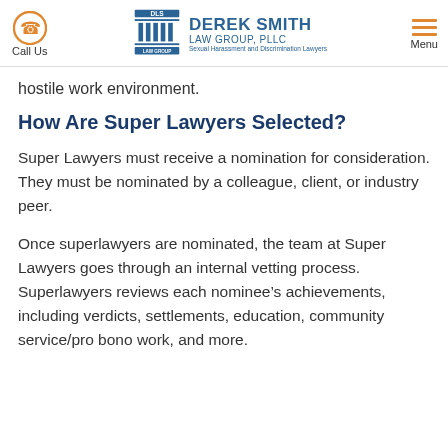Call Us | Derek Smith Law Group, PLLC — Sexual Harassment and Discrimination Lawyers | Menu
hostile work environment.
How Are Super Lawyers Selected?
Super Lawyers must receive a nomination for consideration. They must be nominated by a colleague, client, or industry peer.
Once superlawyers are nominated, the team at Super Lawyers goes through an internal vetting process. Superlawyers reviews each nominee's achievements, including verdicts, settlements, education, community service/pro bono work, and more.